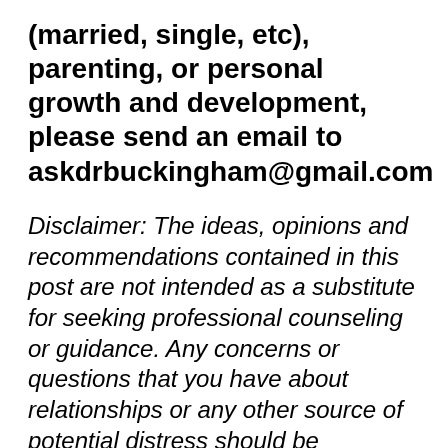(married, single, etc), parenting, or personal growth and development, please send an email to askdrbuckingham@gmail.com
Disclaimer: The ideas, opinions and recommendations contained in this post are not intended as a substitute for seeking professional counseling or guidance. Any concerns or questions that you have about relationships or any other source of potential distress should be discussed with a professional, in person. The author is not liable or responsible for any personal or